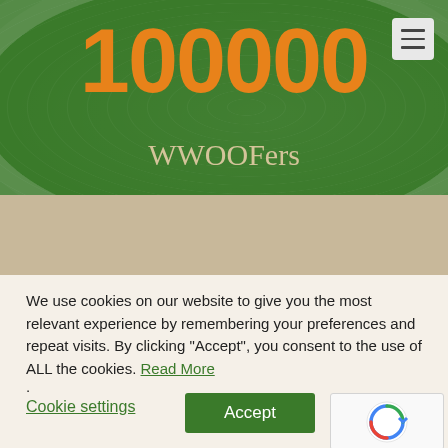100000
WWOOFers
We use cookies on our website to give you the most relevant experience by remembering your preferences and repeat visits. By clicking “Accept”, you consent to the use of ALL the cookies. Read More
.
Cookie settings
Accept
[Figure (logo): reCAPTCHA logo with Privacy and Terms links]